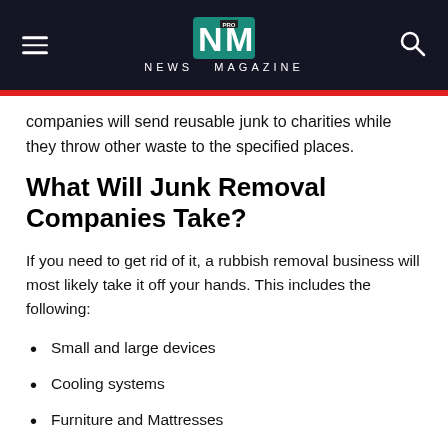NEWS MAGAZINE
companies will send reusable junk to charities while they throw other waste to the specified places.
What Will Junk Removal Companies Take?
If you need to get rid of it, a rubbish removal business will most likely take it off your hands. This includes the following:
Small and large devices
Cooling systems
Furniture and Mattresses
Electronics such as desktops, screens, televisions, and other devices